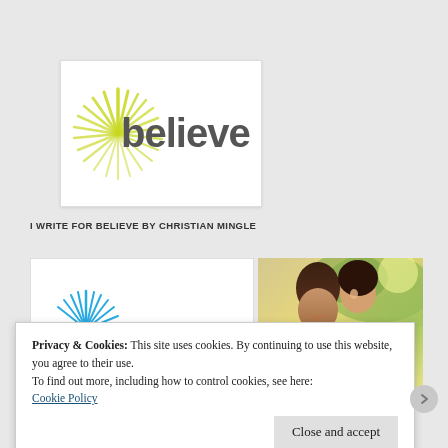[Figure (logo): Believe by Christian Mingle logo: green starburst/sunburst graphic on left, 'believe' in large dark gray sans-serif text on right, on white card background]
I WRITE FOR BELIEVE BY CHRISTIAN MINGLE
[Figure (logo): Believe logo card (smaller version) on white background, partial view]
[Figure (photo): Photo of a couple smiling outdoors with bright sunlit background]
Privacy & Cookies: This site uses cookies. By continuing to use this website, you agree to their use.
To find out more, including how to control cookies, see here:
Cookie Policy
Close and accept